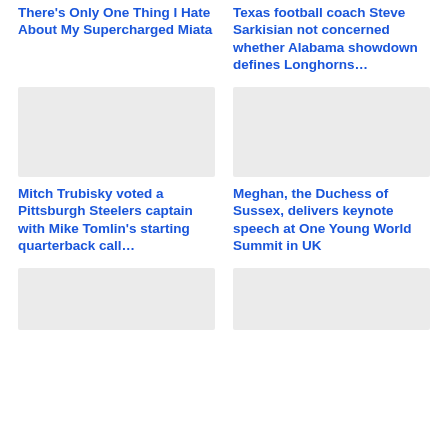There's Only One Thing I Hate About My Supercharged Miata
Texas football coach Steve Sarkisian not concerned whether Alabama showdown defines Longhorns…
[Figure (photo): Placeholder image (light gray)]
[Figure (photo): Placeholder image (light gray)]
Mitch Trubisky voted a Pittsburgh Steelers captain with Mike Tomlin's starting quarterback call…
Meghan, the Duchess of Sussex, delivers keynote speech at One Young World Summit in UK
[Figure (photo): Placeholder image (light gray)]
[Figure (photo): Placeholder image (light gray)]